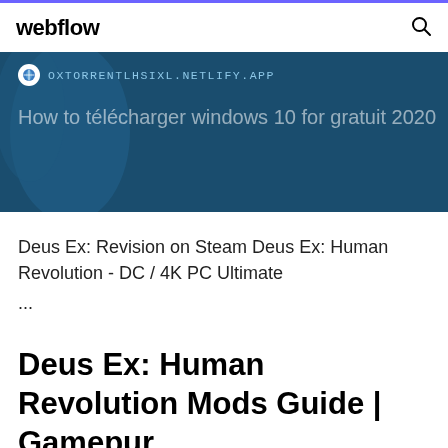webflow
[Figure (screenshot): Dark blue banner with browser URL bar showing OXTORRENTLHSIXL.NETLIFY.APP and partial title 'How to télécharger windows 10 for gratuit 2020' overlaid on a map background]
Deus Ex: Revision on Steam Deus Ex: Human Revolution - DC / 4K PC Ultimate ...
Deus Ex: Human Revolution Mods Guide | Gamepur